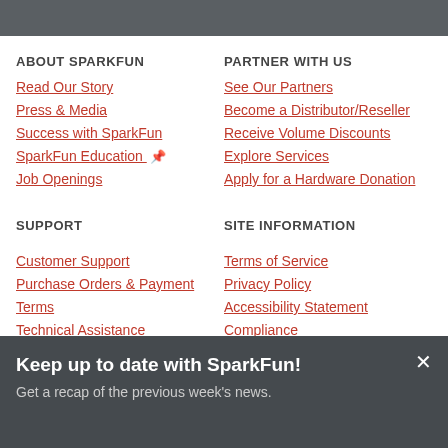ABOUT SPARKFUN
Read Our Story
Press & Media
Success with SparkFun
SparkFun Education
Job Openings
PARTNER WITH US
See Our Partners
Become a Distributor/Reseller
Receive Volume Discounts
Explore Services
Apply for a Hardware Donation
SUPPORT
Customer Support
Purchase Orders & Payment
Terms
Technical Assistance
SITE INFORMATION
Terms of Service
Privacy Policy
Accessibility Statement
Compliance
Keep up to date with SparkFun!
Get a recap of the previous week's news.